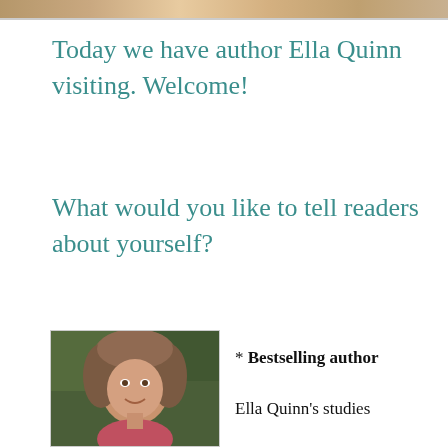[Figure (photo): Decorative banner image strip at top of page showing partial photos]
Today we have author Ella Quinn visiting. Welcome!
What would you like to tell readers about yourself?
[Figure (photo): Portrait photo of author Ella Quinn, a woman with curly grey-brown hair, smiling, wearing pink top, outdoors with green background]
* Bestselling author

Ella Quinn's studies